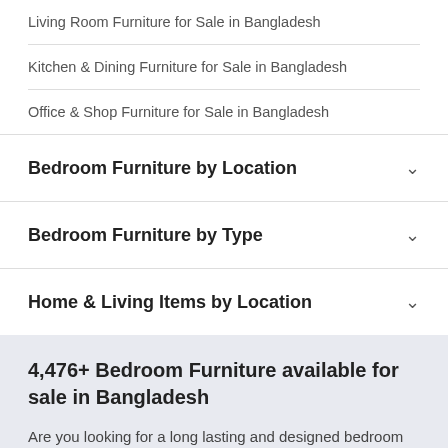Living Room Furniture for Sale in Bangladesh
Kitchen & Dining Furniture for Sale in Bangladesh
Office & Shop Furniture for Sale in Bangladesh
Bedroom Furniture by Location
Bedroom Furniture by Type
Home & Living Items by Location
4,476+ Bedroom Furniture available for sale in Bangladesh
Are you looking for a long lasting and designed bedroom furniture? Look no furt…edroom furniture
show more